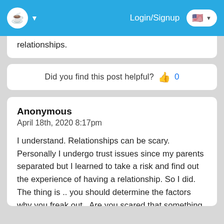Login/Signup
relationships.
Did you find this post helpful? 👍 0
Anonymous
April 18th, 2020 8:17pm
I understand. Relationships can be scary. Personally I undergo trust issues since my parents separated but I learned to take a risk and find out the experience of having a relationship. So I did. The thing is .. you should determine the factors why you freak out . Are you scared that something might go wrong ? Something that you experience from the past